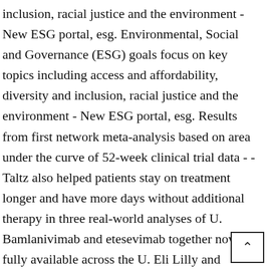inclusion, racial justice and the environment - New ESG portal, esg. Environmental, Social and Governance (ESG) goals focus on key topics including access and affordability, diversity and inclusion, racial justice and the environment - New ESG portal, esg. Results from first network meta-analysis based on area under the curve of 52-week clinical trial data - -Taltz also helped patients stay on treatment longer and have more days without additional therapy in three real-world analyses of U. Bamlanivimab and etesevimab together now fully available across the U. Eli Lilly and Company (NYSE:LLY) today announced changes to the purchase agreements with the U. Eli Lilly and Company (NYSE: LLY) today announced changes to the